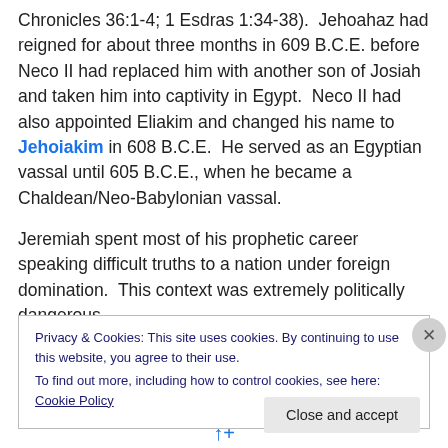Chronicles 36:1-4; 1 Esdras 1:34-38). Jehoahaz had reigned for about three months in 609 B.C.E. before Neco II had replaced him with another son of Josiah and taken him into captivity in Egypt. Neco II had also appointed Eliakim and changed his name to Jehoiakim in 608 B.C.E. He served as an Egyptian vassal until 605 B.C.E., when he became a Chaldean/Neo-Babylonian vassal.
Jeremiah spent most of his prophetic career speaking difficult truths to a nation under foreign domination. This context was extremely politically dangerous.
Privacy & Cookies: This site uses cookies. By continuing to use this website, you agree to their use.
To find out more, including how to control cookies, see here: Cookie Policy
Close and accept